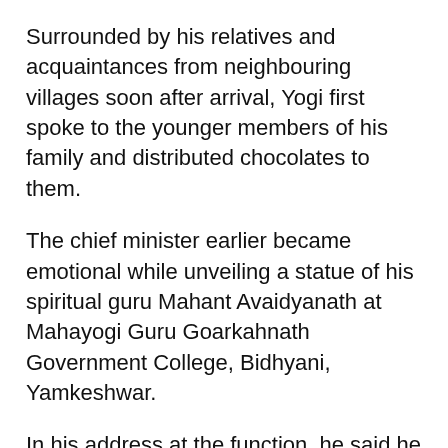Surrounded by his relatives and acquaintances from neighbouring villages soon after arrival, Yogi first spoke to the younger members of his family and distributed chocolates to them.
The chief minister earlier became emotional while unveiling a statue of his spiritual guru Mahant Avaidyanath at Mahayogi Guru Goarkahnath Government College, Bidhyani, Yamkeshwar.
In his address at the function, he said he felt proud while unveiling the statue of his spiritual guru at the place where he was born but could not visit it after 1940.
Adityanath also honoured his school teachers by offering them each a shawl at the function and remembered those who were no more.